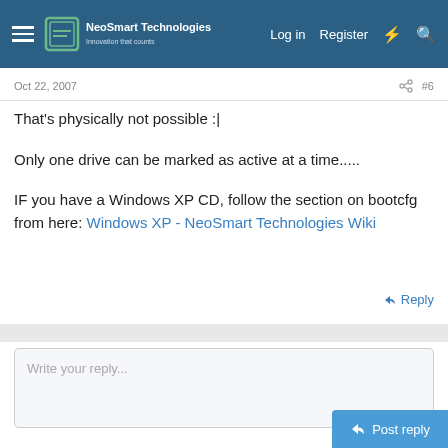NeoSmart Technologies — Log in | Register
Oct 22, 2007  #6
That's physically not possible :|
Only one drive can be marked as active at a time.....
IF you have a Windows XP CD, follow the section on bootcfg from here: Windows XP - NeoSmart Technologies Wiki
Reply
Write your reply...
Post reply